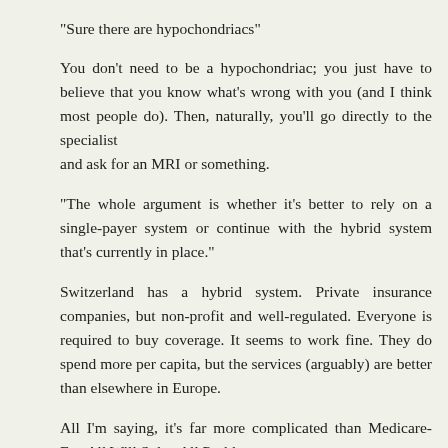"Sure there are hypochondriacs"
You don't need to be a hypochondriac; you just have to believe that you know what's wrong with you (and I think most people do). Then, naturally, you'll go directly to the specialist and ask for an MRI or something.
"The whole argument is whether it's better to rely on a single-payer system or continue with the hybrid system that's currently in place."
Switzerland has a hybrid system. Private insurance companies, but non-profit and well-regulated. Everyone is required to buy coverage. It seems to work fine. They do spend more per capita, but the services (arguably) are better than elsewhere in Europe.
All I'm saying, it's far more complicated than Medicare-For-All Will Solve All Problems.